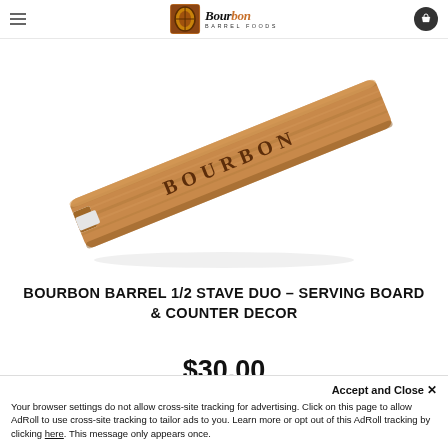Bourbon Barrel Foods
[Figure (photo): A wooden bourbon barrel stave serving board with 'BOURBON' engraved on its surface, shown at an angle. The board is long, narrow, and tapered, made from light brown wood with darker wood grain, and has a notch cut into one end.]
BOURBON BARREL 1/2 STAVE DUO – SERVING BOARD & COUNTER DECOR
$30.00
Accept and Close ✕
Your browser settings do not allow cross-site tracking for advertising. Click on this page to allow AdRoll to use cross-site tracking to tailor ads to you. Learn more or opt out of this AdRoll tracking by clicking here. This message only appears once.